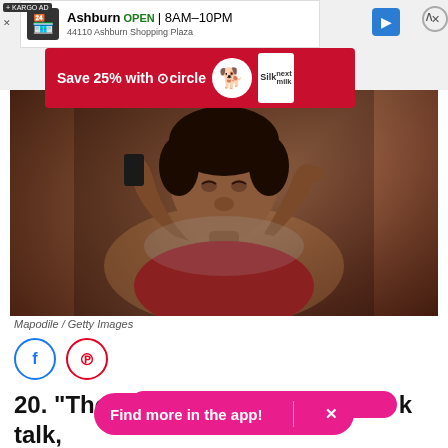[Figure (screenshot): Mobile browser screenshot showing: (1) a Google Maps ad banner for a business in Ashburn showing OPEN 8AM-10PM with address at 44110 Ashburn Shopping Plaza, with a blue navigation arrow icon; (2) a Target/Silk milk promotional ad banner in red saying 'Save 25% with Target circle' with a dog mascot and Silk milk carton; (3) below ads, a photograph of a Black woman with eyes closed, holding a phone to her ear with one hand and pressing her other hand to her temple, appearing distressed, lit from below in warm tones; (4) photo credit 'Mapodile / Getty Images'; (5) Facebook and Pinterest social share buttons; (6) partial article text '20. "The c... k talk, disrespect, and just plain disregard for'; (7) a pink pill-shaped 'Find more in the app!' CTA button with an X close icon overlaying the article text.]
Mapodile / Getty Images
20. "The c... k talk, disrespect, and just plain disregard for